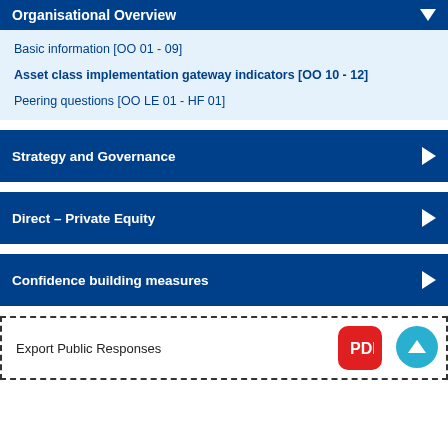Organisational Overview
Basic information [OO 01 - 09]
Asset class implementation gateway indicators [OO 10 - 12]
Peering questions [OO LE 01 - HF 01]
Strategy and Governance
Direct – Private Equity
Confidence building measures
Export Public Responses